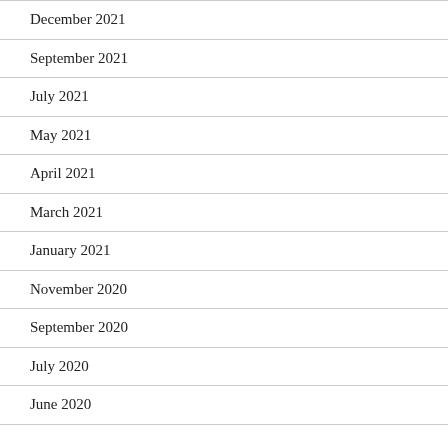December 2021
September 2021
July 2021
May 2021
April 2021
March 2021
January 2021
November 2020
September 2020
July 2020
June 2020